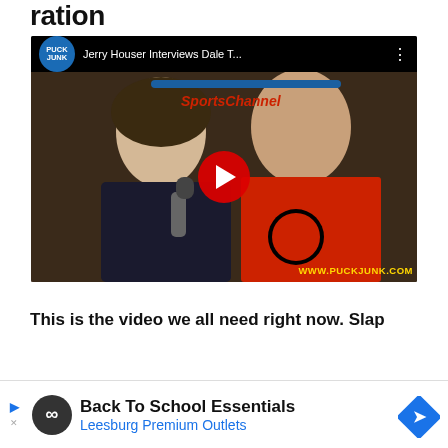ration
[Figure (screenshot): YouTube video thumbnail showing 'Jerry Houser Interviews Dale T...' from PuckJunk channel. Two men visible — one holding a microphone in a dark jersey, one in a red Chicago Blackhawks jersey. SportsChannel logo visible in background. Red YouTube play button in center. WWW.PUCKJUNK.COM watermark in bottom right.]
This is the video we all need right now. Slap
[Figure (infographic): Advertisement banner: Back To School Essentials - Leesburg Premium Outlets. Dark circular icon with infinity symbol on left, blue diamond arrow on right.]